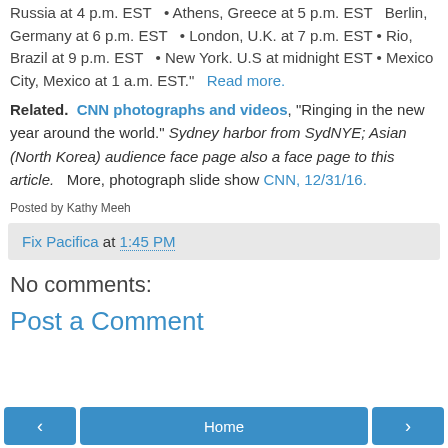Russia at 4 p.m. EST  • Athens, Greece at 5 p.m. EST  Berlin, Germany at 6 p.m. EST  • London, U.K. at 7 p.m. EST • Rio, Brazil at 9 p.m. EST  • New York. U.S at midnight EST • Mexico City, Mexico at 1 a.m. EST."  Read more.
Related.  CNN photographs and videos, "Ringing in the new year around the world." Sydney harbor from SydNYE; Asian (North Korea) audience face page also a face page to this article.  More, photograph slide show CNN, 12/31/16.
Posted by Kathy Meeh
Fix Pacifica at 1:45 PM
No comments:
Post a Comment
Home